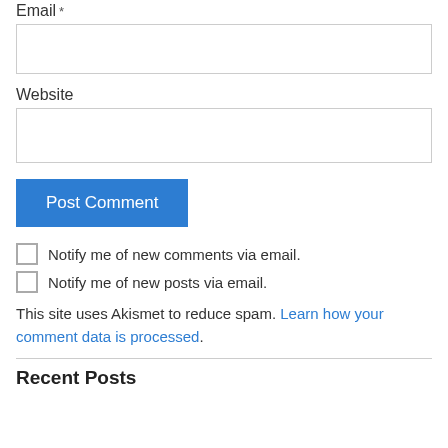Email *
[Figure (other): Email input text field (empty)]
Website
[Figure (other): Website input text field (empty)]
Post Comment
Notify me of new comments via email.
Notify me of new posts via email.
This site uses Akismet to reduce spam. Learn how your comment data is processed.
Recent Posts